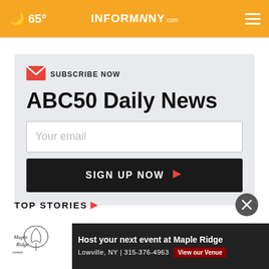65° INFORMNNY.com
SUBSCRIBE NOW
ABC50 Daily News
Your email
SIGN UP NOW
TOP STORIES ▶
[Figure (advertisement): Maple Ridge Center ad: Host your next event at Maple Ridge, Lowville, NY | 315-376-4963, View our Venue button]